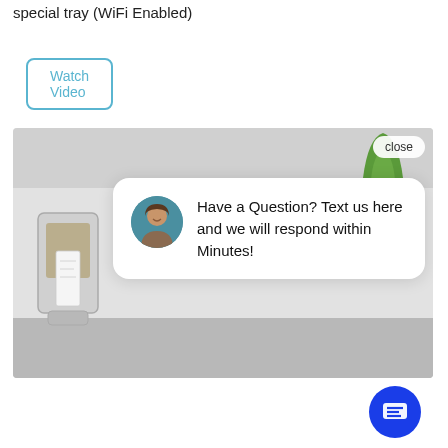special tray (WiFi Enabled)
Watch Video
[Figure (screenshot): A kitchen scene with an appliance/tray on the counter. A chat popup overlay shows a woman's avatar photo and the text: 'Have a Question? Text us here and we will respond within Minutes!' with a close button and a blue chat bubble FAB button at bottom right.]